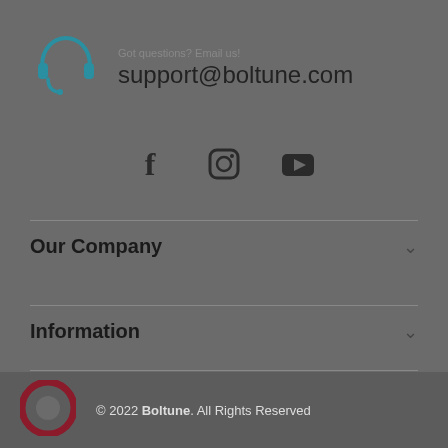[Figure (illustration): Teal headphone/headset icon]
Got questions? Email us!
support@boltune.com
[Figure (illustration): Social media icons: Facebook, Instagram, YouTube]
Our Company
Information
Customer Care
[Figure (logo): Boltune chat bubble logo in dark red]
© 2022 Boltune. All Rights Reserved